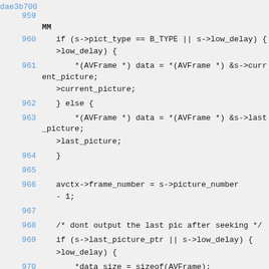dae3b700 959
MM
960    if (s->pict_type == B_TYPE || s->low_delay) {
961        *(AVFrame *) data = *(AVFrame *) &s->current_picture;
962    } else {
963        *(AVFrame *) data = *(AVFrame *) &s->last_picture;
964    }
965
966    avctx->frame_number = s->picture_number - 1;
967
968    /* dont output the last pic after seeking */
969    if (s->last_picture_ptr || s->low_delay) {
970        *data_size = sizeof(AVFrame);